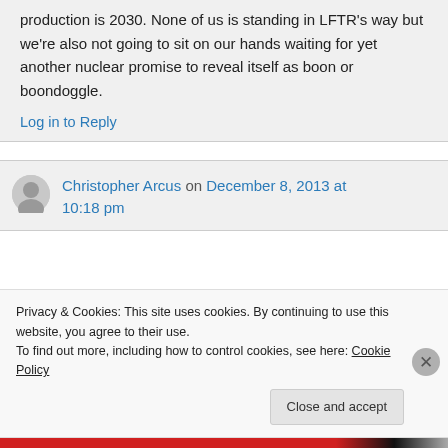production is 2030. None of us is standing in LFTR's way but we're also not going to sit on our hands waiting for yet another nuclear promise to reveal itself as boon or boondoggle.
Log in to Reply
Christopher Arcus on December 8, 2013 at 10:18 pm
Privacy & Cookies: This site uses cookies. By continuing to use this website, you agree to their use.
To find out more, including how to control cookies, see here: Cookie Policy
Close and accept